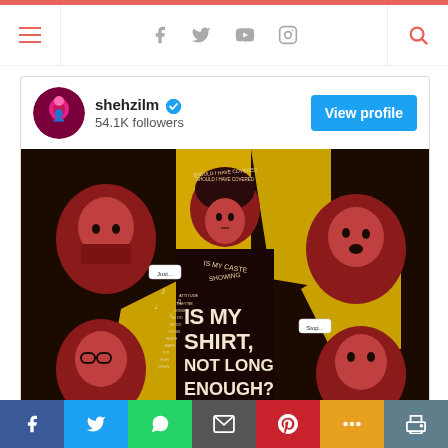[Figure (screenshot): Website navigation bar with hamburger menu on left, social media icons (Facebook, Twitter, YouTube, Instagram) in center, and search icon on right, with a red top border.]
[Figure (other): Instagram profile card for user 'shehzilm' with verified badge, 54.1K followers, and a View profile button.]
[Figure (illustration): Illustration artwork showing multiple people surrounding a woman, with text reading 'IS MY SHIRT NOT LONG ENOUGH?' in bold lettering, and smaller text throughout. Red, yellow, and dark brown color scheme.]
[Figure (screenshot): Bottom social sharing bar with buttons for Facebook, Twitter, WhatsApp, Email, Pinterest, More, and Print.]